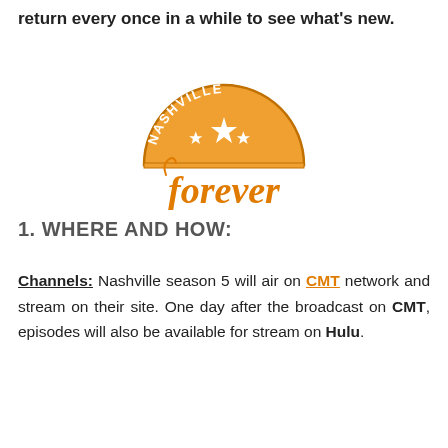return every once in a while to see what's new.
[Figure (logo): Nashville Forever logo: orange semicircle with 'NASHVILLE' text arched along the top and three white stars, with 'forever' in orange cursive script below]
1. WHERE AND HOW:
Channels: Nashville season 5 will air on CMT network and stream on their site. One day after the broadcast on CMT, episodes will also be available for stream on Hulu.